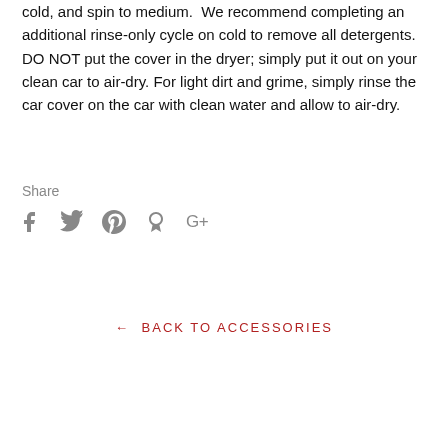cold, and spin to medium.  We recommend completing an additional rinse-only cycle on cold to remove all detergents.  DO NOT put the cover in the dryer; simply put it out on your clean car to air-dry. For light dirt and grime, simply rinse the car cover on the car with clean water and allow to air-dry.
Share
[Figure (other): Social media share icons: Facebook (f), Twitter (bird), Pinterest (P), Fancy (pin), Google+ (G+)]
← BACK TO ACCESSORIES